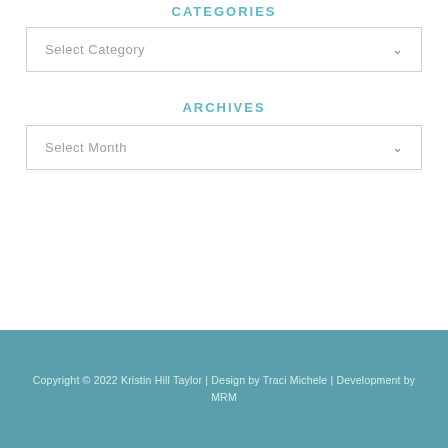CATEGORIES
Select Category
ARCHIVES
Select Month
Copyright © 2022 Kristin Hill Taylor | Design by Traci Michele | Development by MRM